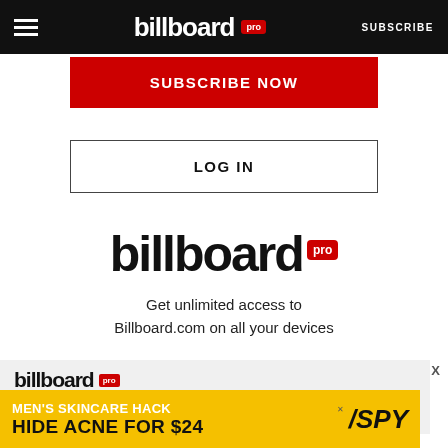billboard pro  SUBSCRIBE
SUBSCRIBE NOW
LOG IN
[Figure (logo): Billboard Pro logo — large centered brand mark with red 'pro' badge]
Get unlimited access to Billboard.com on all your devices
[Figure (screenshot): Billboard Pro logo in ad overlay box at bottom of page, with X close button]
[Figure (infographic): Yellow advertisement banner: MEN'S SKINCARE HACK / HIDE ACNE FOR $24 with SPY logo]